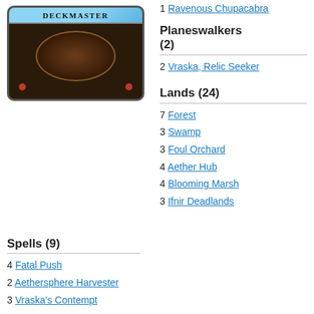[Figure (illustration): Magic: The Gathering card back showing 'DECKMASTER' banner at top, large brown oval in center, and two red dots at bottom corners, all on dark brown background with rounded border.]
1 Ravenous Chupacabra
Planeswalkers (2)
2 Vraska, Relic Seeker
Lands (24)
7 Forest
3 Swamp
3 Foul Orchard
4 Aether Hub
4 Blooming Marsh
3 Ifnir Deadlands
Spells (9)
4 Fatal Push
2 Aethersphere Harvester
3 Vraska's Contempt